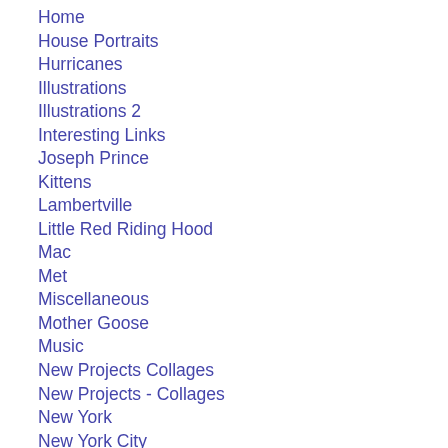Home
House Portraits
Hurricanes
Illustrations
Illustrations 2
Interesting Links
Joseph Prince
Kittens
Lambertville
Little Red Riding Hood
Mac
Met
Miscellaneous
Mother Goose
Music
New Projects Collages
New Projects - Collages
New York
New York City